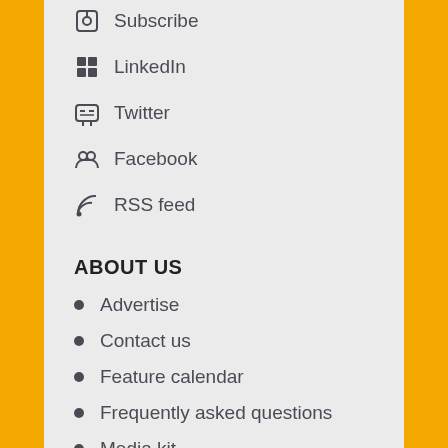Subscribe
LinkedIn
Twitter
Facebook
RSS feed
ABOUT US
Advertise
Contact us
Feature calendar
Frequently asked questions
Media kit
Our sites